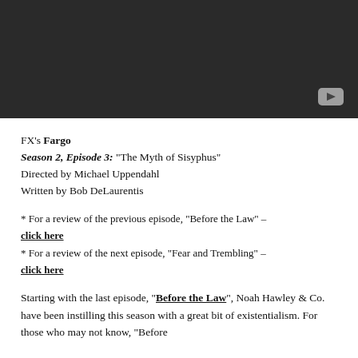[Figure (screenshot): Dark video player thumbnail with a YouTube-style play button in the bottom right corner]
FX's Fargo
Season 2, Episode 3: “The Myth of Sisyphus”
Directed by Michael Uppendahl
Written by Bob DeLaurentis
* For a review of the previous episode, “Before the Law” – click here
* For a review of the next episode, “Fear and Trembling” – click here
Starting with the last episode, “Before the Law”, Noah Hawley & Co. have been instilling this season with a great bit of existentialism. For those who may not know, “Before